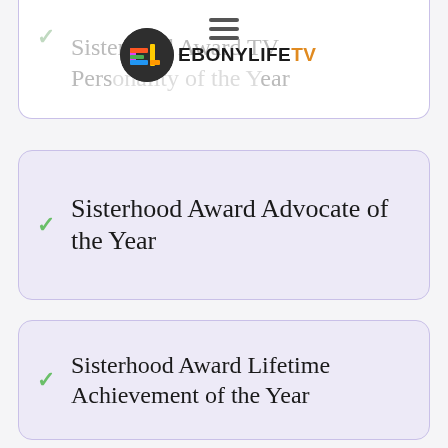[Figure (logo): EbonyLife TV logo with hamburger menu icon overlaid on a partially visible card]
Sisterhood Award TV Personality of the Year
Sisterhood Award Advocate of the Year
Sisterhood Award Lifetime Achievement of the Year
Sisterhood Award Best...